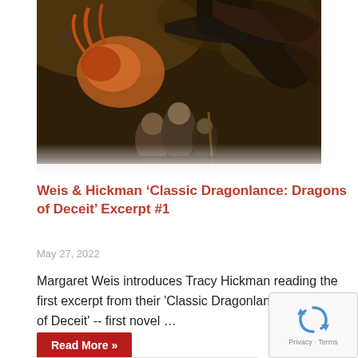[Figure (illustration): Fantasy illustration showing a dragon with orange/red head looming over three human characters standing together — a muscular warrior, a woman in the center, and a smaller armored figure — against a dark stormy sky with castle ruins in the background.]
Weis & Hickman ‘Classic Dragonlance: Dragons of Deceit’ Excerpt #1
May 27, 2022
Margaret Weis introduces Tracy Hickman reading the first excerpt from their 'Classic Dragonlance: Dragons of Deceit' -- first novel …
Read More »